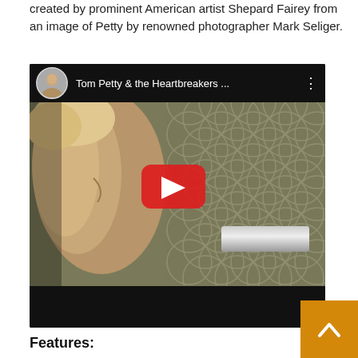created by prominent American artist Shepard Fairey from an image of Petty by renowned photographer Mark Seliger.
[Figure (screenshot): YouTube video embed showing Tom Petty & the Heartbreakers video thumbnail with a man's face in profile near a microphone, YouTube play button overlay, channel avatar, and title 'Tom Petty & the Heartbreakers ...']
Features: